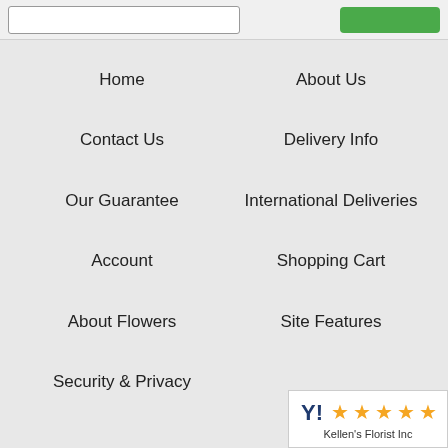Home
About Us
Contact Us
Delivery Info
Our Guarantee
International Deliveries
Account
Shopping Cart
About Flowers
Site Features
Security & Privacy
Bookmarks
[Figure (logo): Yahoo shopping 5-star rating badge for Kellen's Florist Inc]